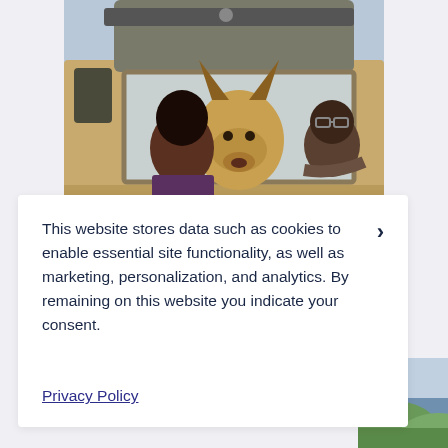[Figure (photo): A woman hugging a German Shepherd dog through the window of a tan/beige van or SUV, with a man visible in the driver's seat. The vehicle appears to be an older-style 4x4 with roof rack.]
This website stores data such as cookies to enable essential site functionality, as well as marketing, personalization, and analytics. By remaining on this website you indicate your consent.
Privacy Policy
[Figure (photo): Partial view of a coastal or hillside landscape with green grass and ocean/water visible in the background.]